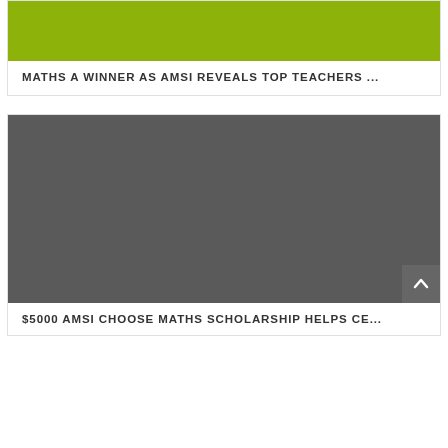[Figure (photo): Green/olive colored image banner at top of first article card]
MATHS A WINNER AS AMSI REVEALS TOP TEACHERS ...
[Figure (photo): Large dark grey image for second article card about AMSI Choose Maths Scholarship]
$5000 AMSI CHOOSE MATHS SCHOLARSHIP HELPS CE...